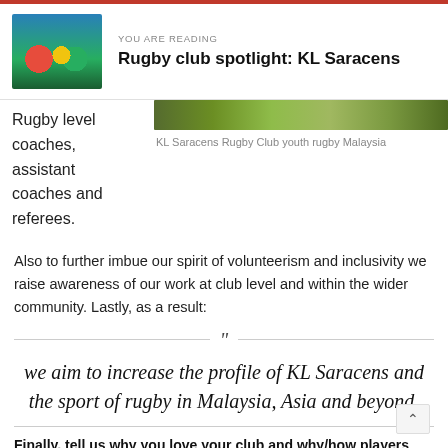YOU ARE READING
Rugby club spotlight: KL Saracens
[Figure (photo): Photo of rugby players on field, thumbnail image]
[Figure (photo): Green field/grass photo strip for KL Saracens Rugby Club]
KL Saracens Rugby Club youth rugby Malaysia
Rugby level coaches, assistant coaches and referees.
Also to further imbue our spirit of volunteerism and inclusivity we raise awareness of our work at club level and within the wider community. Lastly, as a result:
“we aim to increase the profile of KL Saracens and the sport of rugby in Malaysia, Asia and beyond.
Finally, tell us why you love your club and why/how players can get involved?
With KL Saracens alone, young players are introduced to the game